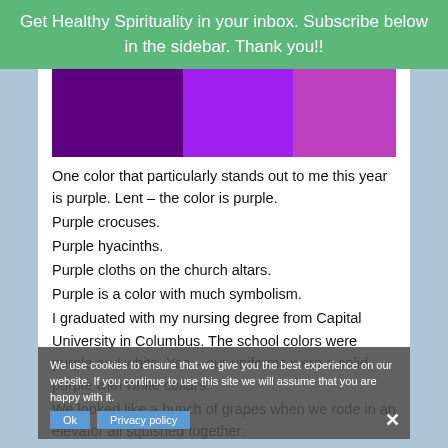Get Healthy Spirituality in your inbox. Subscribe below in the sidebar. Thank you!!
[Figure (illustration): Three rectangular color swatches side by side: dark purple, bright purple/violet, and lighter purple/magenta]
One color that particularly stands out to me this year is purple. Lent – the color is purple. Purple crocuses. Purple hyacinths. Purple cloths on the church altars. Purple is a color with much symbolism. I graduated with my nursing degree from Capital University in Columbus. The school colors were purple and white. Yes – our uniforms were a solid purple with white collars. We looked like a bunch of grapes when we rode in an elevator all squished together. But our dean would tell us – "Purple is the color of royalty."
We use cookies to ensure that we give you the best experience on our website. If you continue to use this site we will assume that you are happy with it.